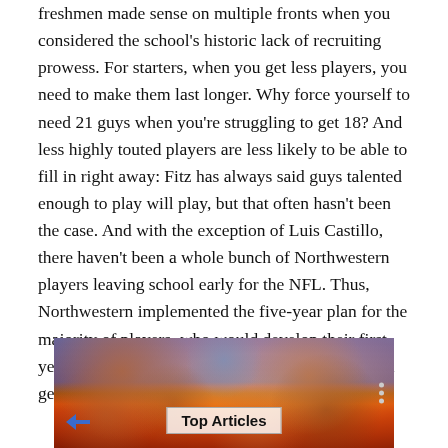freshmen made sense on multiple fronts when you considered the school's historic lack of recruiting prowess. For starters, when you get less players, you need to make them last longer. Why force yourself to need 21 guys when you're struggling to get 18? And less highly touted players are less likely to be able to fill in right away: Fitz has always said guys talented enough to play will play, but that often hasn't been the case. And with the exception of Luis Castillo, there haven't been a whole bunch of Northwestern players leaving school early for the NFL. Thus, Northwestern implemented the five-year plan for the majority of players, who would develop their first year, hopefully turn into something by seniors, and get their degrees.
[Figure (photo): A sports crowd photo with a 'Top Articles' label overlay at the bottom center, and a three-dot menu icon on the right side.]